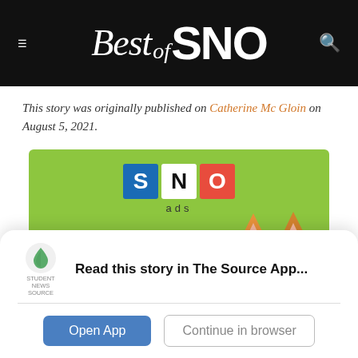Best of SNO
This story was originally published on Catherine Mc Gloin on August 5, 2021.
[Figure (screenshot): SNO ads banner with green background showing SNO logo squares (S in blue, N in white, O in red), 'ads' text, 'What' in red text, and an orange cat peeking from the right side]
Read this story in The Source App...
Open App   Continue in browser